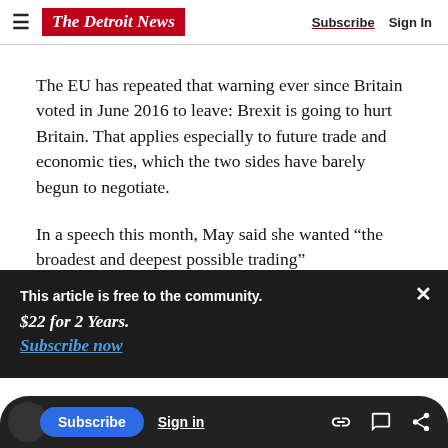The Detroit News — Subscribe | Sign In
The EU has repeated that warning ever since Britain voted in June 2016 to leave: Brexit is going to hurt Britain. That applies especially to future trade and economic ties, which the two sides have barely begun to negotiate.
In a speech this month, May said she wanted “the b…
This article is free to the community. $22 for 2 Years. Subscribe now
without the obligations.
The two sides have given themselves until October…